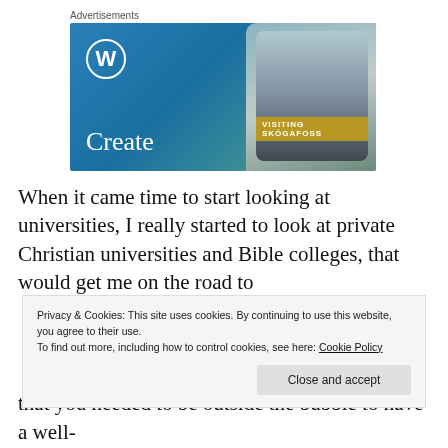[Figure (screenshot): WordPress advertisement banner showing WordPress logo, 'Create' text in white, and a phone displaying 'VISITING SKOGAFOSS' text overlay on a waterfall image. Blue gradient background.]
When it came time to start looking at universities, I really started to look at private Christian universities and Bible colleges, that would get me on the road to
Privacy & Cookies: This site uses cookies. By continuing to use this website, you agree to their use.
To find out more, including how to control cookies, see here: Cookie Policy
that you needed to be outside the bubble to have a well-